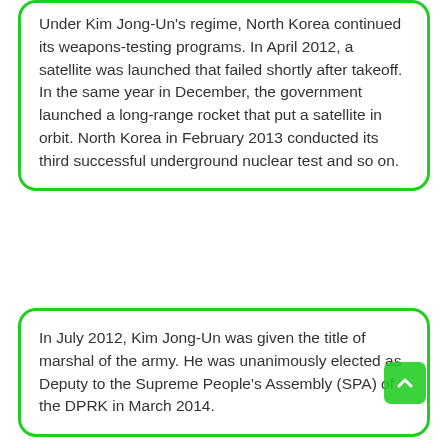Under Kim Jong-Un's regime, North Korea continued its weapons-testing programs. In April 2012, a satellite was launched that failed shortly after takeoff. In the same year in December, the government launched a long-range rocket that put a satellite in orbit. North Korea in February 2013 conducted its third successful underground nuclear test and so on.
In July 2012, Kim Jong-Un was given the title of marshal of the army. He was unanimously elected as Deputy to the Supreme People's Assembly (SPA) of the DPRK in March 2014.
Kim Jong-un and Moon Jae-in on 27 April 2018, met first time at Panmunjom and crossed over to the South Korean side. He was the first ruler from North Korea, who had done this.
This execution of Jang likewise marked the end of North